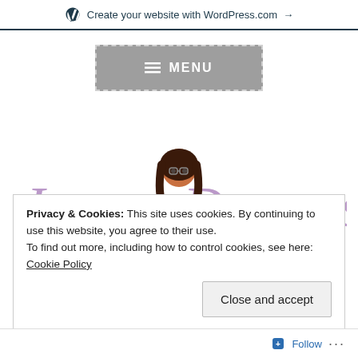Create your website with WordPress.com →
[Figure (screenshot): Gray MENU button with hamburger icon and dashed border]
[Figure (logo): Jamsu Dreams logo — purple cursive text with illustrated girl reading a book in the center]
Privacy & Cookies: This site uses cookies. By continuing to use this website, you agree to their use.
To find out more, including how to control cookies, see here: Cookie Policy
Close and accept
Follow